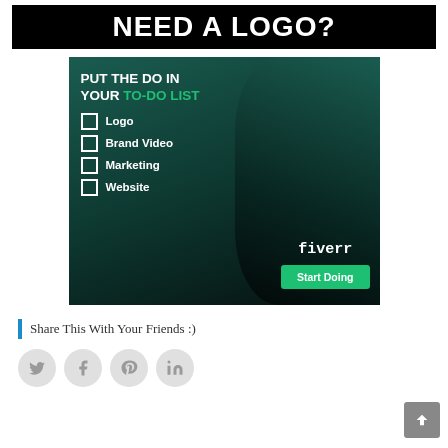[Figure (infographic): Black banner with white bold text reading NEED A LOGO?]
[Figure (infographic): Fiverr advertisement: dark teal background with a woman on right side, white bold text PUT THE DO IN YOUR TO-DO LIST (TO-DO LIST in green), checklist items Logo, Brand Video, Marketing, Website with empty checkboxes, fiverr logo text, green Start Doing button]
Share This With Your Friends :)
[Figure (infographic): Four circular social media share icons: Twitter, Facebook, Pinterest, LinkedIn — grey circles with grey icons]